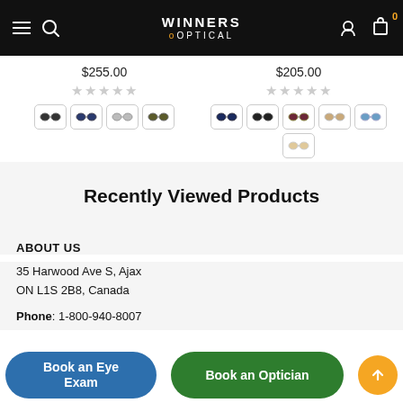Winners Optical navigation bar
$255.00
$205.00
Recently Viewed Products
ABOUT US
35 Harwood Ave S, Ajax
ON L1S 2B8, Canada
Phone: 1-800-940-8007
Book an Eye Exam
Book an Optician